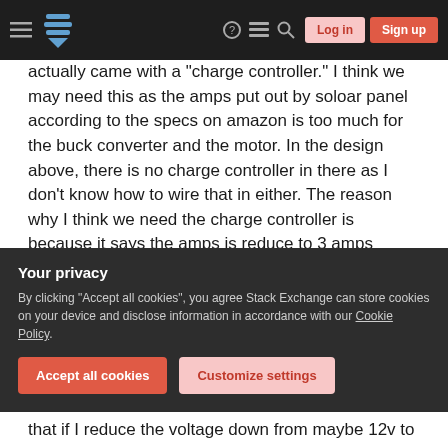Stack Exchange navigation bar with Log in and Sign up buttons
actually came with a "charge controller." I think we may need this as the amps put out by soloar panel according to the specs on amazon is too much for the buck converter and the motor. In the design above, there is no charge controller in there as I don't know how to wire that in either. The reason why I think we need the charge controller is because it says the amps is reduce to 3 amps which is below the max amps that the buck converter says it can handle, which is good. Another thing I am worried about is we might need a second charge
Your privacy
By clicking "Accept all cookies", you agree Stack Exchange can store cookies on your device and disclose information in accordance with our Cookie Policy.
Accept all cookies
Customize settings
that if I reduce the voltage down from maybe 12v to